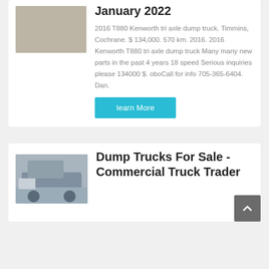January 2022
2016 T880 Kenworth tri axle dump truck. Timmins, Cochrane. $ 134,000. 570 km. 2016. 2016 Kenworth T880 tri axle dump truck Many many new parts in the past 4 years 18 speed Serious inquiries please 134000 $. oboCall for info 705-365-6404. Dan.
learn More
Dump Trucks For Sale - Commercial Truck Trader